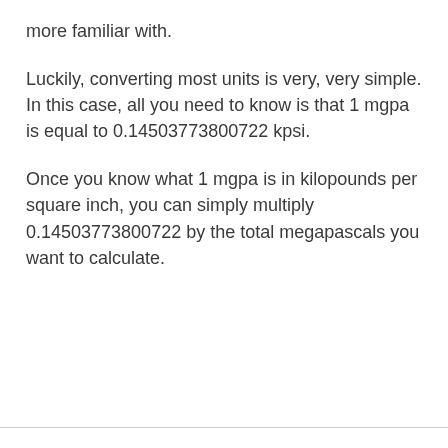more familiar with.
Luckily, converting most units is very, very simple. In this case, all you need to know is that 1 mgpa is equal to 0.14503773800722 kpsi.
Once you know what 1 mgpa is in kilopounds per square inch, you can simply multiply 0.14503773800722 by the total megapascals you want to calculate.